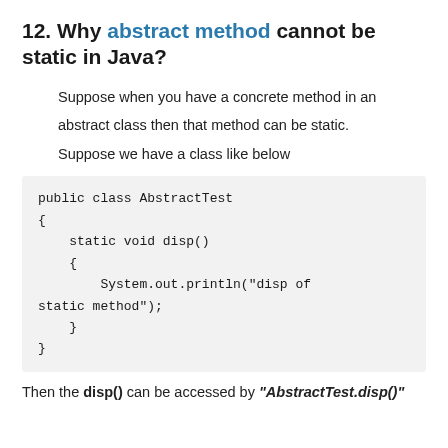12. Why abstract method cannot be static in Java?
Suppose when you have a concrete method in an abstract class then that method can be static.
Suppose we have a class like below
public class AbstractTest
{
    static void disp()
    {
        System.out.println("disp of static method");
    }
}
Then the disp() can be accessed by "AbstractTest.disp()"